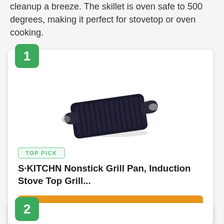cleanup a breeze. The skillet is oven safe to 500 degrees, making it perfect for stovetop or oven cooking.
[Figure (photo): Product card number 1 with a green badge showing '1', containing a photo of a black nonstick grill pan with ridges and two handles, a 'TOP PICK' badge, product title, and a Buy Now button.]
TOP PICK
S·KITCHN Nonstick Grill Pan, Induction Stove Top Grill...
Buy Now